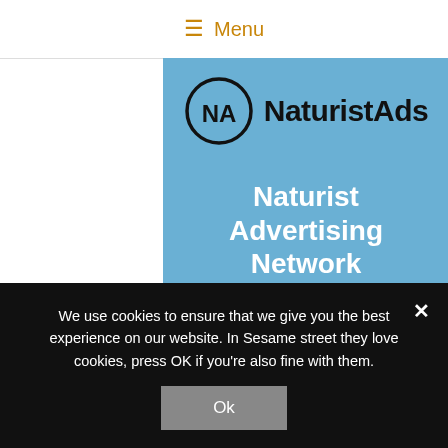≡ Menu
[Figure (logo): NaturistAds logo banner — blue background with NA circle logo, NaturistAds text, 'Naturist Advertising Network' subtitle, and 'Pay-per-click' text]
We use cookies to ensure that we give you the best experience on our website. In Sesame street they love cookies, press OK if you're also fine with them.